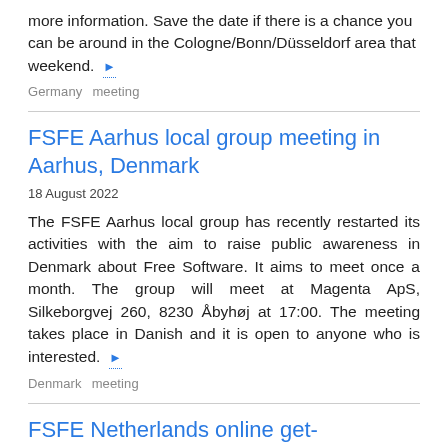more information. Save the date if there is a chance you can be around in the Cologne/Bonn/Düsseldorf area that weekend. ▶
Germany   meeting
FSFE Aarhus local group meeting in Aarhus, Denmark
18 August 2022
The FSFE Aarhus local group has recently restarted its activities with the aim to raise public awareness in Denmark about Free Software. It aims to meet once a month. The group will meet at Magenta ApS, Silkeborgvej 260, 8230 Åbyhøj at 17:00. The meeting takes place in Danish and it is open to anyone who is interested. ▶
Denmark   meeting
FSFE Netherlands online get-together (online)